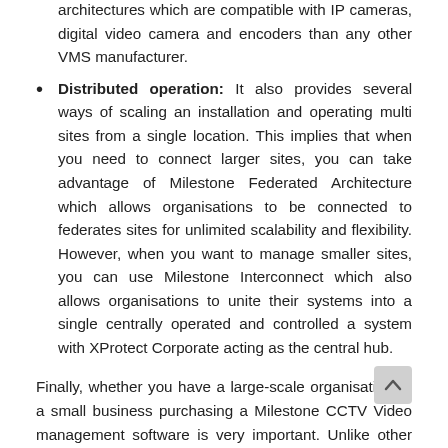architectures which are compatible with IP cameras, digital video camera and encoders than any other VMS manufacturer.
Distributed operation: It also provides several ways of scaling an installation and operating multi sites from a single location. This implies that when you need to connect larger sites, you can take advantage of Milestone Federated Architecture which allows organisations to be connected to federates sites for unlimited scalability and flexibility. However, when you want to manage smaller sites, you can use Milestone Interconnect which also allows organisations to unite their systems into a single centrally operated and controlled a system with XProtect Corporate acting as the central hub.
Finally, whether you have a large-scale organisation or a small business purchasing a Milestone CCTV Video management software is very important. Unlike other video management software, Milestone has the most extensive